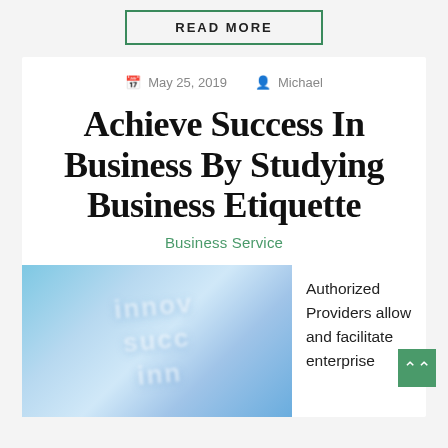READ MORE
May 25, 2019   Michael
Achieve Success In Business By Studying Business Etiquette
Business Service
[Figure (photo): Blurred photo with text overlay showing business-related words like 'success', blue-toned background]
Authorized Providers allow and facilitate enterprise